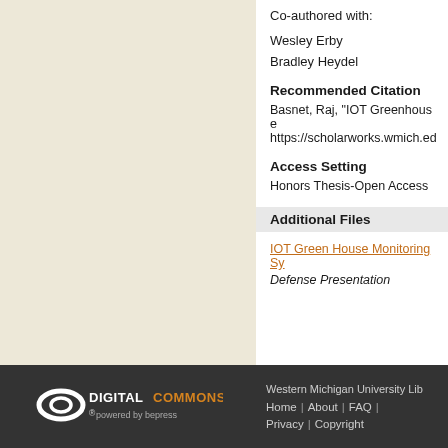Co-authored with:
Wesley Erby
Bradley Heydel
Recommended Citation
Basnet, Raj, "IOT Greenhouse https://scholarworks.wmich.ed
Access Setting
Honors Thesis-Open Access
Additional Files
IOT Green House Monitoring Sy
Defense Presentation
[Figure (logo): DigitalCommons powered by bepress logo in white on dark background]
Western Michigan University Lib Home | About | FAQ | Privacy | Copyright